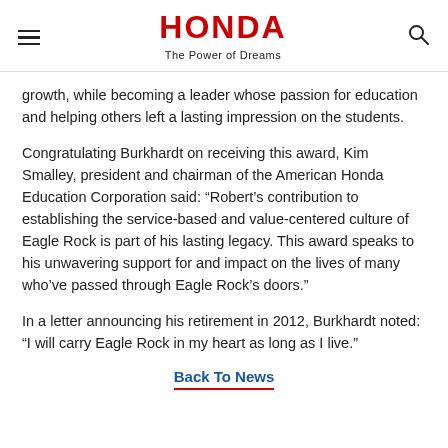HONDA — The Power of Dreams
growth, while becoming a leader whose passion for education and helping others left a lasting impression on the students.
Congratulating Burkhardt on receiving this award, Kim Smalley, president and chairman of the American Honda Education Corporation said: “Robert’s contribution to establishing the service-based and value-centered culture of Eagle Rock is part of his lasting legacy. This award speaks to his unwavering support for and impact on the lives of many who’ve passed through Eagle Rock’s doors.”
In a letter announcing his retirement in 2012, Burkhardt noted: “I will carry Eagle Rock in my heart as long as I live.”
Back To News